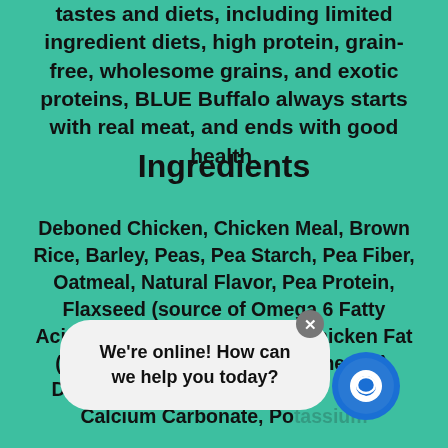tastes and diets, including limited ingredient diets, high protein, grain-free, wholesome grains, and exotic proteins, BLUE Buffalo always starts with real meat, and ends with good health.
Ingredients
Deboned Chicken, Chicken Meal, Brown Rice, Barley, Peas, Pea Starch, Pea Fiber, Oatmeal, Natural Flavor, Pea Protein, Flaxseed (source of Omega 6 Fatty Acids), Powdered Cellulose, Chicken Fat (preserved with Mixed Tocopherols), Dehydrated Alfalfa Meal, Calcium Carbonate, Potassium Phosphate, Potassium Chloride, Alfalfa Nutrient Concentrate, Choline Chloride, Salt, DL-Methionine, preserved with Mixed
[Figure (screenshot): Chat widget popup with message 'We're online! How can we help you today?' and a close X button, along with a circular chat icon button to the right.]